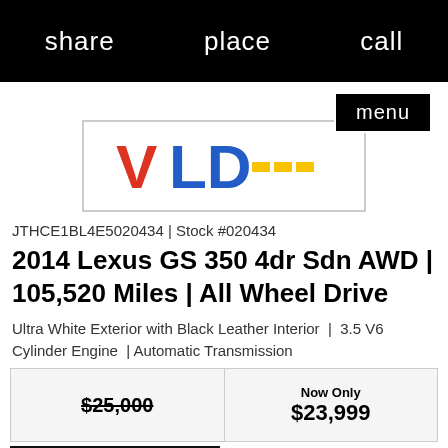share   place   call
[Figure (logo): VLD dealer logo with red and blue letters and yellow dashes]
JTHCE1BL4E5020434 | Stock #020434
2014 Lexus GS 350 4dr Sdn AWD | 105,520 Miles | All Wheel Drive
Ultra White Exterior with Black Leather Interior  |  3.5 V6 Cylinder Engine  | Automatic Transmission
| $25,000 | Now Only
$23,999 |
SHARE
Like this Lexus GS 350 or know someone who might like it? Sha